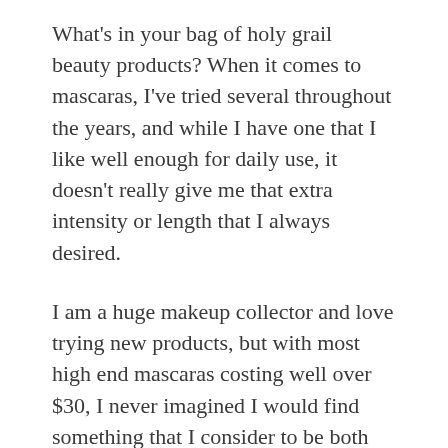What's in your bag of holy grail beauty products? When it comes to mascaras, I've tried several throughout the years, and while I have one that I like well enough for daily use, it doesn't really give me that extra intensity or length that I always desired.
I am a huge makeup collector and love trying new products, but with most high end mascaras costing well over $30, I never imagined I would find something that I consider to be both cost effective AND high quality.
My friend Lauren Savino, who is a presenter with Younique, offered to send me a package with their Moodstruck 3D Fiber Lash Mascara